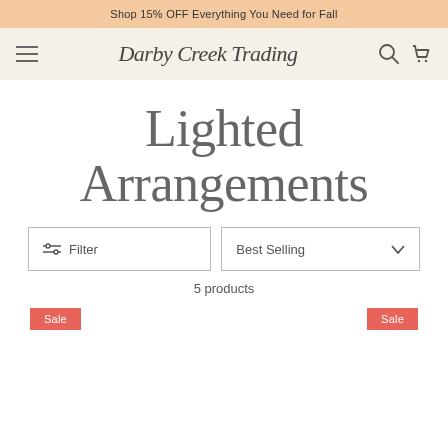Shop 15% OFF Everything You Need for Fall
[Figure (screenshot): Darby Creek Trading navigation bar with hamburger menu, cursive logo, search and cart icons on a cream background]
Lighted Arrangements
Filter | Best Selling (sort dropdown)
5 products
Sale  Sale